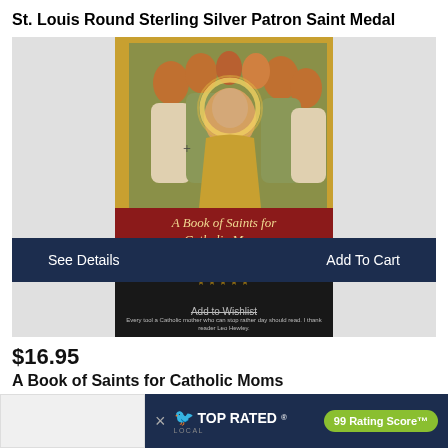St. Louis Round Sterling Silver Patron Saint Medal
[Figure (photo): Product listing showing a book cover for 'A Book of Saints for Catholic Moms: 52 Companions for Your Heart, Mind, Body and Soul' with a painted saint figure surrounded by other figures on the cover. Below the book cover image is a dark navy button bar with 'See Details' on the left and 'Add To Cart' on the right, and an 'Add to Wishlist' text below.]
$16.95
A Book of Saints for Catholic Moms
[Figure (infographic): TOP RATED LOCAL advertisement banner with a bird logo, showing '99 Rating Score™' in a green rounded badge on a dark navy background with a close (×) button.]